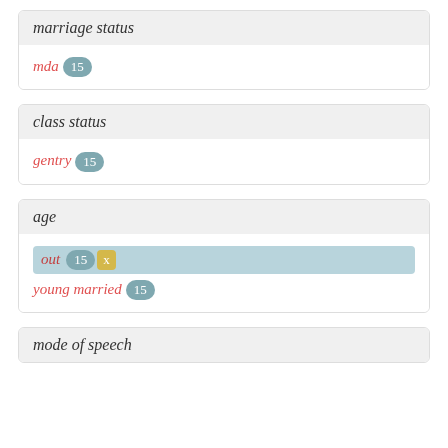marriage status
mda 15
class status
gentry 15
age
out 15 x
young married 15
mode of speech